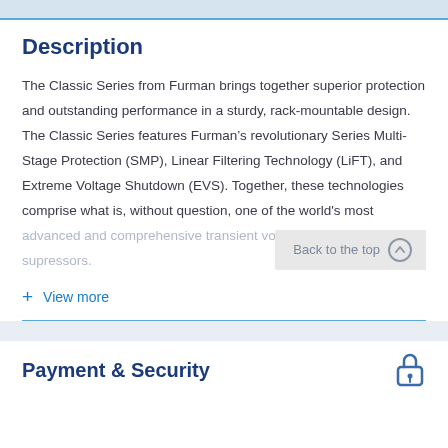Description
The Classic Series from Furman brings together superior protection and outstanding performance in a sturdy, rack-mountable design. The Classic Series features Furman&rsquo;s revolutionary Series Multi-Stage Protection (SMP), Linear Filtering Technology (LiFT), and Extreme Voltage Shutdown (EVS). Together, these technologies comprise what is, without question, one of the world's most advanced and comprehensive transient voltage surge supressors.
+ View more
Payment & Security